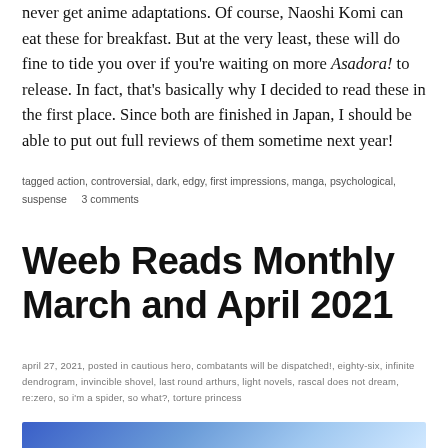never get anime adaptations. Of course, Naoshi Komi can eat these for breakfast. But at the very least, these will do fine to tide you over if you're waiting on more Asadora! to release. In fact, that's basically why I decided to read these in the first place. Since both are finished in Japan, I should be able to put out full reviews of them sometime next year!
tagged action, controversial, dark, edgy, first impressions, manga, psychological, suspense   3 comments
Weeb Reads Monthly March and April 2021
april 27, 2021, posted in cautious hero, combatants will be dispatched!, eighty-six, infinite dendrogram, invincible shovel, last round arthurs, light novels, rascal does not dream, re:zero, so i'm a spider, so what?, torture princess
[Figure (photo): Blue starry/sparkly background image, cropped at bottom of page]